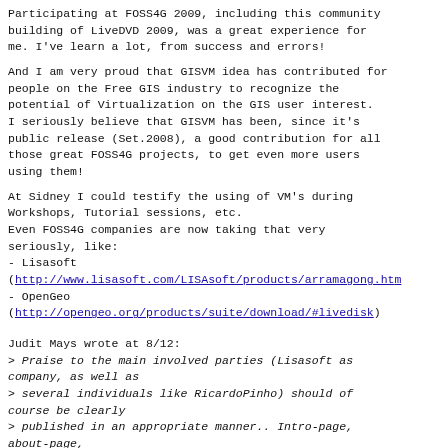Participating at FOSS4G 2009, including this community building of LiveDVD 2009, was a great experience for me. I've learn a lot, from success and errors!
And I am very proud that GISVM idea has contributed for people on the Free GIS industry to recognize the potential of Virtualization on the GIS user interest. I seriously believe that GISVM has been, since it's public release (Set.2008), a good contribution for all those great FOSS4G projects, to get even more users using them!
At Sidney I could testify the using of VM's during Workshops, Tutorial sessions, etc.
Even FOSS4G companies are now taking that very seriously, like:
- Lisasoft
(http://www.lisasoft.com/LISAsoft/products/arramagong.htm)
- OpenGeo
(http://opengeo.org/products/suite/download/#livedisk)
Judit Mays wrote at 8/12:
> Praise to the main involved parties (Lisasoft as company, as well as
> several individuals like RicardoPinho) should of course be clearly
> published in an appropriate manner.. Intro-page, about-page,
> documentation-start-page, history-page, ...
> After all, Someone gave a calculation of man-hours